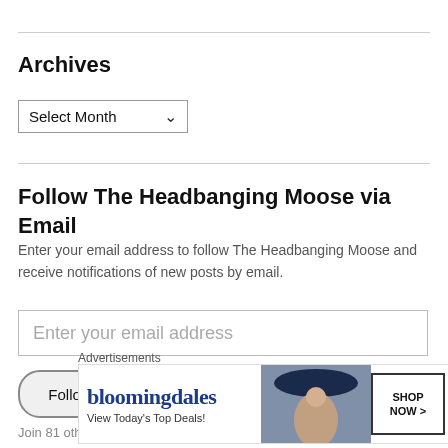Archives
[Figure (screenshot): A dropdown select box with 'Select Month' label and a down arrow]
Follow The Headbanging Moose via Email
Enter your email address to follow The Headbanging Moose and receive notifications of new posts by email.
[Figure (screenshot): Email address input field with placeholder 'Enter your email address']
[Figure (screenshot): Follow button with rounded pill shape]
Join 81 other followers
Advertisements
[Figure (screenshot): Bloomingdales advertisement banner: bloomingdales logo, 'View Today's Top Deals!' text, woman with hat, SHOP NOW button]